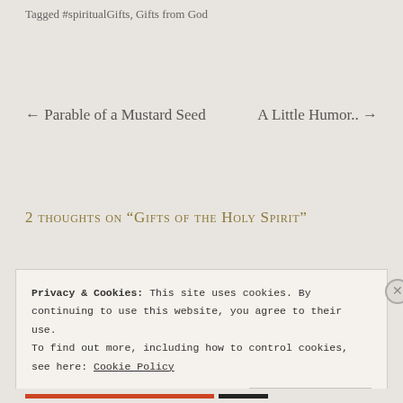Tagged #spiritualGifts, Gifts from God
← Parable of a Mustard Seed
A Little Humor.. →
2 thoughts on "Gifts of the Holy Spirit"
Privacy & Cookies: This site uses cookies. By continuing to use this website, you agree to their use.
To find out more, including how to control cookies, see here: Cookie Policy
Close and accept